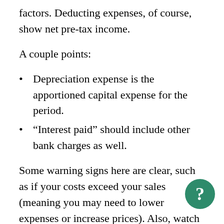factors. Deducting expenses, of course, show net pre-tax income.
A couple points:
Depreciation expense is the apportioned capital expense for the period.
“Interest paid” should include other bank charges as well.
Some warning signs here are clear, such as if your costs exceed your sales (meaning you may need to lower expenses or increase prices). Also, watch for unexplained drops in sales and marketing expenditures – this can hurt your bottom line down the road – or for increasing expenses without...